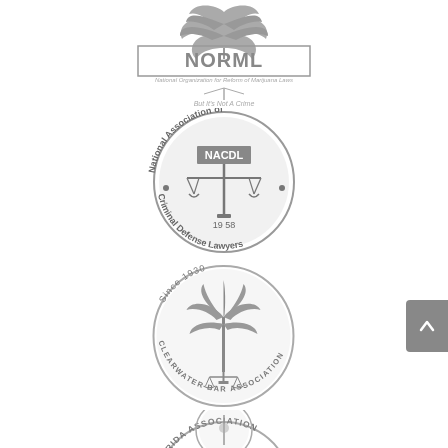[Figure (logo): NORML logo — National Organization for Reform of Marijuana Laws. Cannabis leaf above bold 'NORML' text in a bordered rectangle, tagline 'But It's Not A Crime' below in gray.]
[Figure (logo): NACDL logo — National Association of Criminal Defense Lawyers. Circular seal with scales of justice, 'NACDL' center text, '1958' founding year, organization name around the circle border, gray tones.]
[Figure (logo): Clearwater Bar Association logo — Circular seal reading 'Since 1930' at top, 'Clearwater Bar Association' around the border, palm tree with scales of justice in center, gray tones.]
[Figure (logo): Florida Association logo — Partially visible circular seal at bottom of page, reading '...RIDA ASSOCIATION' around border, partially cut off, gray tones.]